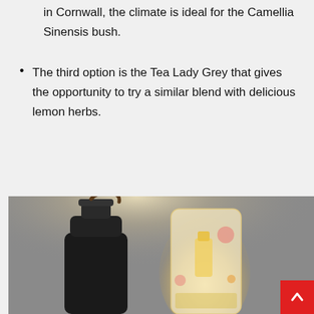in Cornwall, the climate is ideal for the Camellia Sinensis bush.
The third option is the Tea Lady Grey that gives the opportunity to try a similar blend with delicious lemon herbs.
[Figure (photo): Photo of a dark metal water bottle with a loop cap handle alongside a glowing translucent tea/perfume box packaging, set against a grey background with warm overhead light.]